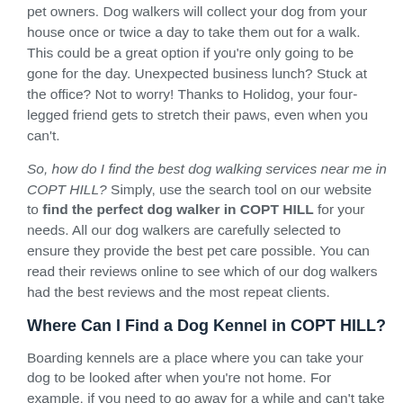pet owners. Dog walkers will collect your dog from your house once or twice a day to take them out for a walk. This could be a great option if you're only going to be gone for the day. Unexpected business lunch? Stuck at the office? Not to worry! Thanks to Holidog, your four-legged friend gets to stretch their paws, even when you can't.
So, how do I find the best dog walking services near me in COPT HILL? Simply, use the search tool on our website to find the perfect dog walker in COPT HILL for your needs. All our dog walkers are carefully selected to ensure they provide the best pet care possible. You can read their reviews online to see which of our dog walkers had the best reviews and the most repeat clients.
Where Can I Find a Dog Kennel in COPT HILL?
Boarding kennels are a place where you can take your dog to be looked after when you're not home. For example, if you need to go away for a while and can't take your dog with you, dog boarding kennels can serve as a long-term care solution for your pet. However, dog kennels usually house